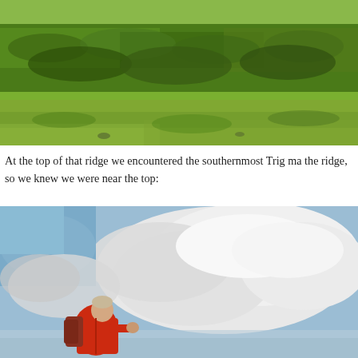[Figure (photo): Hillside covered in dense green bracken ferns and grass, outdoor landscape photo]
At the top of that ridge we encountered the southernmost Trig ma the ridge, so we knew we were near the top:
[Figure (photo): Person in red jacket with backpack standing against a dramatic cloudy sky, outdoor hiking photo]